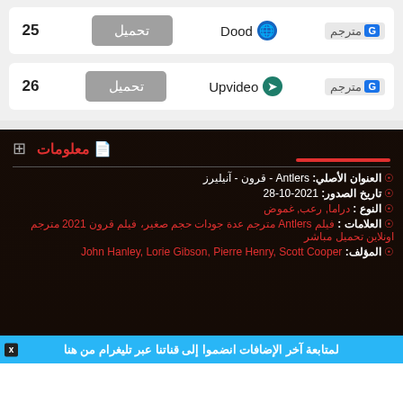25 تحميل Dood مترجم
26 تحميل Upvideo مترجم
معلومات
العنوان الأصلي: Antlers - قرون - آنيليرز
تاريخ الصدور: 2021-10-28
النوع : دراما, رعب, غموض
العلامات :فيلم Antlers مترجم عدة جودات حجم صغير، فيلم قرون 2021 مترجم اونلاين تحميل مباشر
المؤلف: John Hanley, Lorie Gibson, Pierre Henry, Scott Cooper
لمتابعة آخر الإضافات انضموا إلى قناتنا عبر تليغرام من هنا